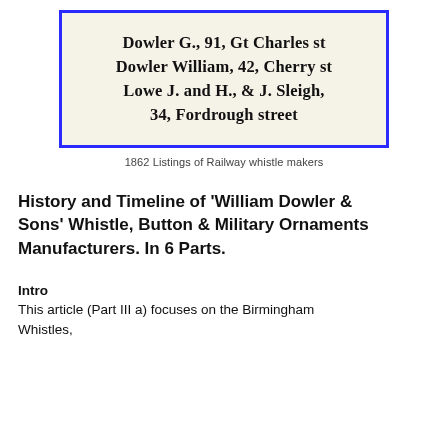[Figure (other): A scanned image of an 1862 directory listing showing entries for Dowler G., 91, Gt Charles st; Dowler William, 42, Cherry st; Lowe J. and H., & J. Sleigh, 34, Fordrough street. Displayed in a blue-bordered box with a cream background.]
1862 Listings of Railway whistle makers
History and Timeline of 'William Dowler & Sons' Whistle, Button & Military Ornaments Manufacturers. In 6 Parts.
Intro
This article (Part III a) focuses on the Birmingham Whistles,